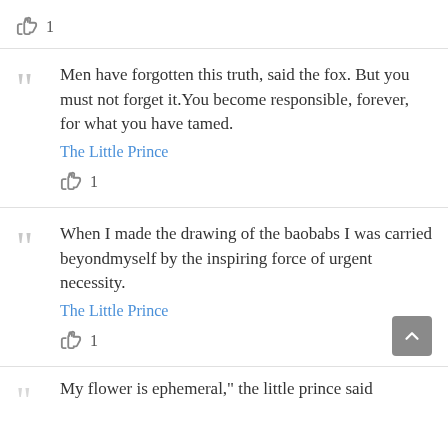👍 1
Men have forgotten this truth, said the fox. But you must not forget it.You become responsible, forever, for what you have tamed.
The Little Prince
👍 1
When I made the drawing of the baobabs I was carried beyondmyself by the inspiring force of urgent necessity.
The Little Prince
👍 1
My flower is ephemeral," the little prince said